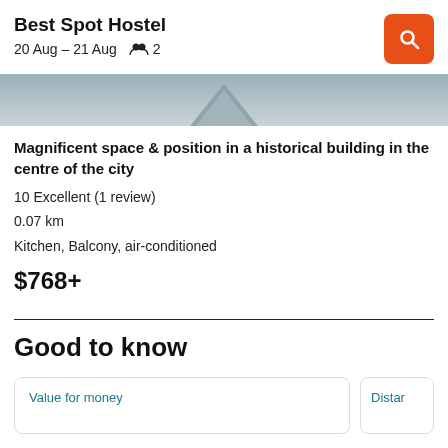Best Spot Hostel | 20 Aug – 21 Aug  2
[Figure (photo): Partial photo of a building, showing a triangular architectural detail at the top center against a grey background.]
Magnificent space & position in a historical building in the centre of the city
10 Excellent (1 review)
0.07 km
Kitchen, Balcony, air-conditioned
$768+
Good to know
Value for money
Distar